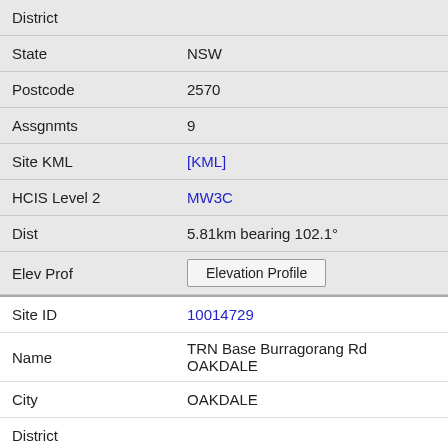| Field | Value |
| --- | --- |
| District |  |
| State | NSW |
| Postcode | 2570 |
| Assgnmts | 9 |
| Site KML | [KML] |
| HCIS Level 2 | MW3C |
| Dist | 5.81km bearing 102.1° |
| Elev Prof | Elevation Profile |
| Site ID | 10014729 |
| Name | TRN Base Burragorang Rd OAKDALE |
| City | OAKDALE |
| District |  |
| State | NSW |
| Postcode |  |
| Assgnmts |  |
| Site KML | [KML] |
| HCIS Level 2 | MW3C |